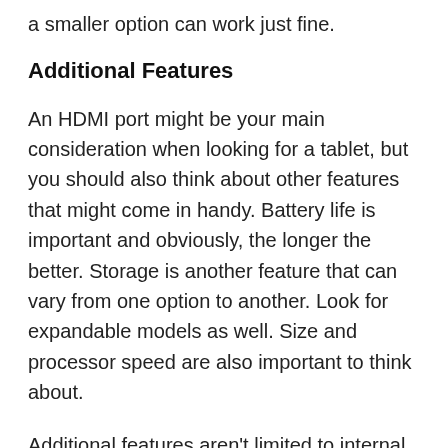a smaller option can work just fine.
Additional Features
An HDMI port might be your main consideration when looking for a tablet, but you should also think about other features that might come in handy. Battery life is important and obviously, the longer the better. Storage is another feature that can vary from one option to another. Look for expandable models as well. Size and processor speed are also important to think about.
Additional features aren't limited to internal components. You should consider your tablet's design and durability as well. Cameras are nice to have, you can get options that are equipped with